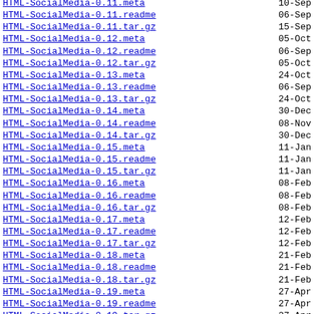HTML-SocialMedia-0.11.meta  10-Sep
HTML-SocialMedia-0.11.readme  06-Sep
HTML-SocialMedia-0.11.tar.gz  15-Sep
HTML-SocialMedia-0.12.meta  05-Oct
HTML-SocialMedia-0.12.readme  06-Sep
HTML-SocialMedia-0.12.tar.gz  05-Oct
HTML-SocialMedia-0.13.meta  24-Oct
HTML-SocialMedia-0.13.readme  06-Sep
HTML-SocialMedia-0.13.tar.gz  24-Oct
HTML-SocialMedia-0.14.meta  30-Dec
HTML-SocialMedia-0.14.readme  08-Nov
HTML-SocialMedia-0.14.tar.gz  30-Dec
HTML-SocialMedia-0.15.meta  11-Jan
HTML-SocialMedia-0.15.readme  11-Jan
HTML-SocialMedia-0.15.tar.gz  11-Jan
HTML-SocialMedia-0.16.meta  08-Feb
HTML-SocialMedia-0.16.readme  08-Feb
HTML-SocialMedia-0.16.tar.gz  08-Feb
HTML-SocialMedia-0.17.meta  12-Feb
HTML-SocialMedia-0.17.readme  12-Feb
HTML-SocialMedia-0.17.tar.gz  12-Feb
HTML-SocialMedia-0.18.meta  21-Feb
HTML-SocialMedia-0.18.readme  21-Feb
HTML-SocialMedia-0.18.tar.gz  21-Feb
HTML-SocialMedia-0.19.meta  27-Apr
HTML-SocialMedia-0.19.readme  27-Apr
HTML-SocialMedia-0.19.tar.gz  27-Apr
HTML-SocialMedia-0.20.meta  10-Nov
HTML-SocialMedia-0.20.readme  10-Nov
HTML-SocialMedia-0.20.tar.gz  10-Nov
HTML-SocialMedia-0.21.meta  11-Nov